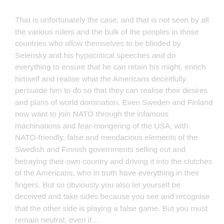That is unfortunately the case, and that is not seen by all the various rulers and the bulk of the peoples in those countries who allow themselves to be blinded by Selensky and his hypocritical speeches and do everything to ensure that he can retain his might, enrich himself and realise what the Americans deceitfully persuade him to do so that they can realise their desires and plans of world domination. Even Sweden and Finland now want to join NATO through the infamous machinations and fear-mongering of the USA, with NATO-friendly, false and mendacious elements of the Swedish and Finnish governments selling out and betraying their own country and driving it into the clutches of the Americans, who in truth have everything in their fingers. But so obviously you also let yourself be deceived and take sides because you see and recognise that the other side is playing a false game. But you must remain neutral, even if….